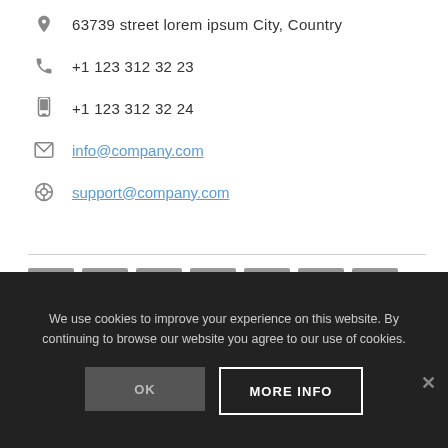63739 street lorem ipsum City, Country
+1 123 312 32 23
+1 123 312 32 24
info@company.com
support@company.com
[Figure (infographic): Social media icon buttons: email, twitter, facebook, flickr, google+, linkedin, skype — all in grey square buttons]
We use cookies to improve your experience on this website. By continuing to browse our website you agree to our use of cookies.
OK   MORE INFO